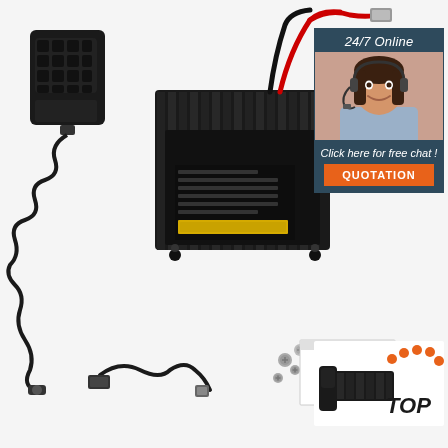[Figure (photo): Product photo showing a mobile radio transceiver kit with handheld microphone, power cables, USB programming cable, hardware screws, and a manual/box on a white background]
[Figure (photo): Customer service chat widget with a smiling woman wearing a headset, dark teal background, '24/7 Online' header, 'Click here for free chat!' text, and orange QUOTATION button]
[Figure (logo): TOP badge logo with orange dots arc and image of mobile radio transceiver]